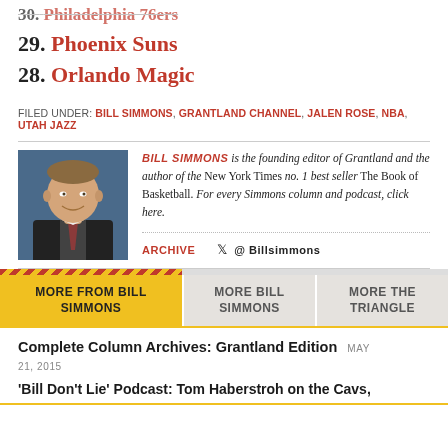30. Philadelphia 76ers
29. Phoenix Suns
28. Orlando Magic
FILED UNDER: BILL SIMMONS, GRANTLAND CHANNEL, JALEN ROSE, NBA, UTAH JAZZ
[Figure (photo): Headshot photo of Bill Simmons smiling in a suit and tie]
BILL SIMMONS is the founding editor of Grantland and the author of the New York Times no. 1 best seller The Book of Basketball. For every Simmons column and podcast, click here.
ARCHIVE  @ BILLSIMMONS
MORE FROM BILL SIMMONS | MORE BILL SIMMONS | MORE THE TRIANGLE
Complete Column Archives: Grantland Edition MAY 21, 2015
'Bill Don't Lie' Podcast: Tom Haberstroh on the Cavs,